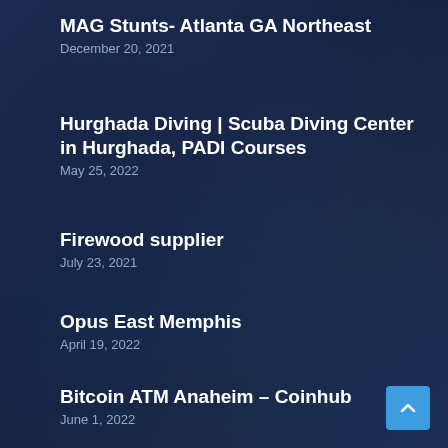MAG Stunts- Atlanta GA Northeast
December 20, 2021
Hurghada Diving | Scuba Diving Center in Hurghada, PADI Courses
May 25, 2022
Firewood supplier
July 23, 2021
Opus East Memphis
April 19, 2022
Bitcoin ATM Anaheim – Coinhub
June 1, 2022